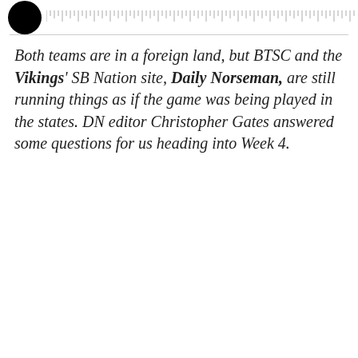[Logo and ruler header bar]
Both teams are in a foreign land, but BTSC and the Vikings' SB Nation site, Daily Norseman, are still running things as if the game was being played in the states. DN editor Christopher Gates answered some questions for us heading into Week 4.